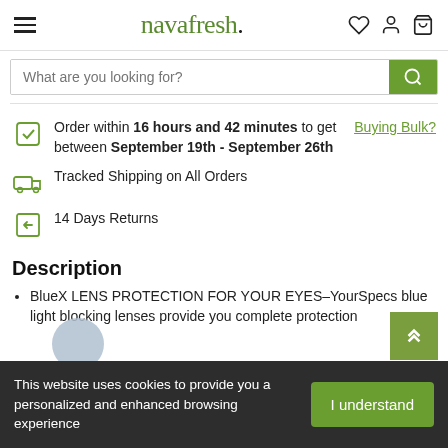navafresh.
What are you looking for?
Order within 16 hours and 42 minutes to get between September 19th - September 26th
Buying Bulk?
Tracked Shipping on All Orders
14 Days Returns
Description
BlueX LENS PROTECTION FOR YOUR EYES–YourSpecs blue light blocking lenses provide you complete protection
This website uses cookies to provide you a personalized and enhanced browsing experience